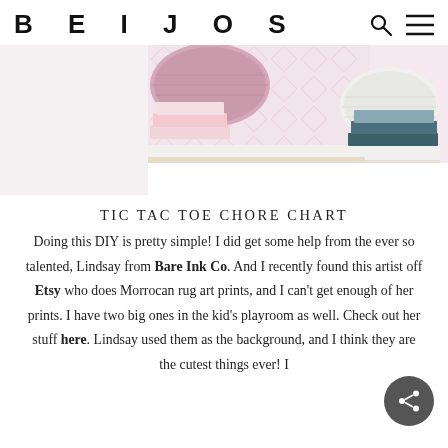BEIJOS
[Figure (photo): Styled shelf scene with pink woven basket, pink books, and a white wooden tray against a Moroccan-print wallpaper background]
TIC TAC TOE CHORE CHART
Doing this DIY is pretty simple! I did get some help from the ever so talented, Lindsay from Bare Ink Co. And I recently found this artist off Etsy who does Morrocan rug art prints, and I can't get enough of her prints. I have two big ones in the kid's playroom as well. Check out her stuff here. Lindsay used them as the background, and I think they are the cutest things ever! I